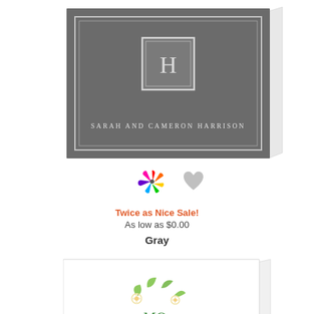[Figure (photo): Gray folded note card with double white border frame, white monogram H in a square box, and text 'Sarah and Cameron Harrison' in white serif font on gray background]
[Figure (illustration): Colorful pinwheel/color wheel icon]
[Figure (illustration): Gray heart icon]
Twice as Nice Sale!
As low as $0.00
Gray
[Figure (illustration): White folded note card with floral wreath design and monogram initials in green]